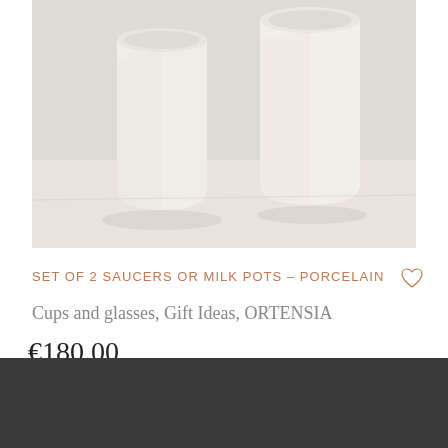[Figure (photo): Two white porcelain cups/pots on a light marble or white surface, photographed from above at a slight angle. The cups are cylindrical and off-white/cream colored.]
SET OF 2 SAUCERS OR MILK POTS – PORCELAIN
Cups and glasses, Gift Ideas, ORTENSIA
€180.00